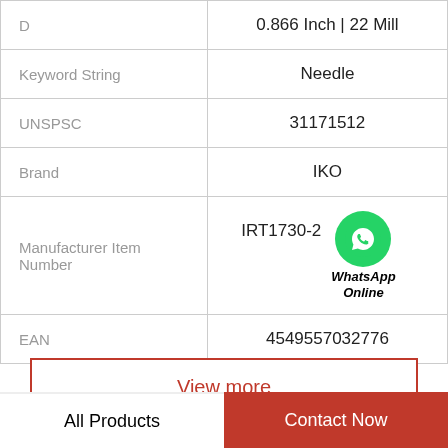| Attribute | Value |
| --- | --- |
| D | 0.866 Inch | 22 Mill |
| Keyword String | Needle |
| UNSPSC | 31171512 |
| Brand | IKO |
| Manufacturer Item Number | IRT1730-2 |
| EAN | 4549557032776 |
View more
All Products | Contact Now